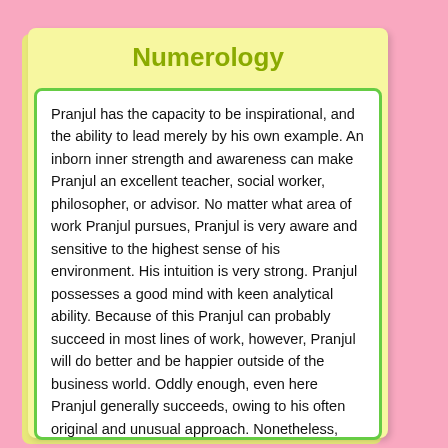Numerology
Pranjul has the capacity to be inspirational, and the ability to lead merely by his own example. An inborn inner strength and awareness can make Pranjul an excellent teacher, social worker, philosopher, or advisor. No matter what area of work Pranjul pursues, Pranjul is very aware and sensitive to the highest sense of his environment. His intuition is very strong. Pranjul possesses a good mind with keen analytical ability. Because of this Pranjul can probably succeed in most lines of work, however, Pranjul will do better and be happier outside of the business world. Oddly enough, even here Pranjul generally succeeds, owing to his often original and unusual approach. Nonetheless, Pranjul is more content working with his ideals, rather than dollars and cents.The positive aspect of the number 11 expression is an always idealistic attitude. His thinking is long term, and Pranjul is able to grasp the far-reaching effects of actions and plans. Pranjul is disappointed by the shortsighted views of many of his contemporaries. Pranjul is deeply concerned and supportive of art, music, or of beauty in any form.